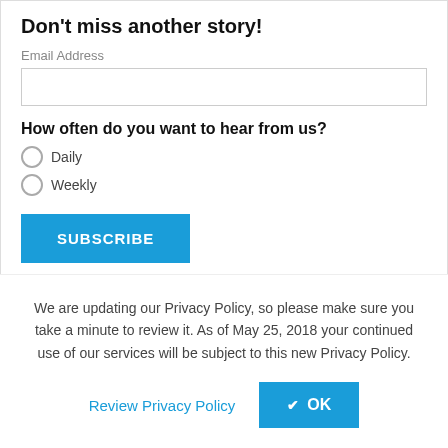Don't miss another story!
Email Address
How often do you want to hear from us?
Daily
Weekly
SUBSCRIBE
Simplilearn Resources
We are updating our Privacy Policy, so please make sure you take a minute to review it. As of May 25, 2018 your continued use of our services will be subject to this new Privacy Policy.
Review Privacy Policy
OK